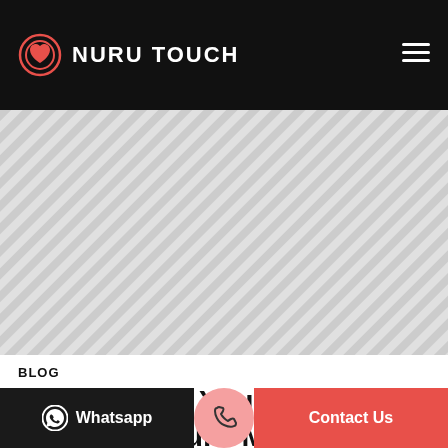NURU TOUCH
[Figure (photo): Hero image area with diagonal grey stripe pattern background]
BLOG
Why Should You Have a Japanese Nuru Massage Once in